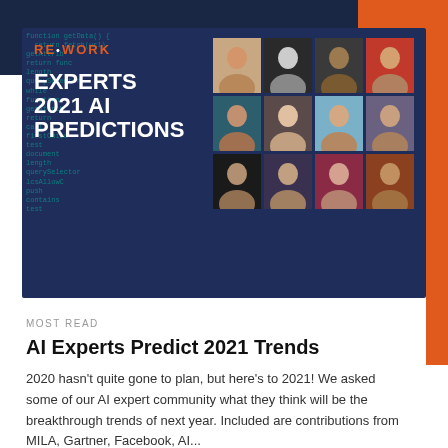[Figure (illustration): RE·WORK blog card image showing 'Experts 2021 AI Predictions' with a grid of expert headshots on a dark blue background with code overlay]
MOST READ
AI Experts Predict 2021 Trends
2020 hasn't quite gone to plan, but here's to 2021! We asked some of our AI expert community what they think will be the breakthrough trends of next year. Included are contributions from MILA, Gartner, Facebook, AI...
Luke Kenworthy
10 DECEMBER 2020